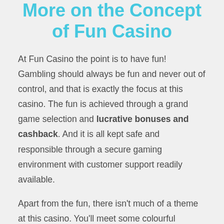More on the Concept of Fun Casino
At Fun Casino the point is to have fun! Gambling should always be fun and never out of control, and that is exactly the focus at this casino. The fun is achieved through a grand game selection and lucrative bonuses and cashback. And it is all kept safe and responsible through a secure gaming environment with customer support readily available.
Apart from the fun, there isn't much of a theme at this casino. You'll meet some colourful characters jumping around and there is also a mix of the same colours (red, blue, green) on the website. There is no backstory or concept – it is simply a straightforward casino offering a